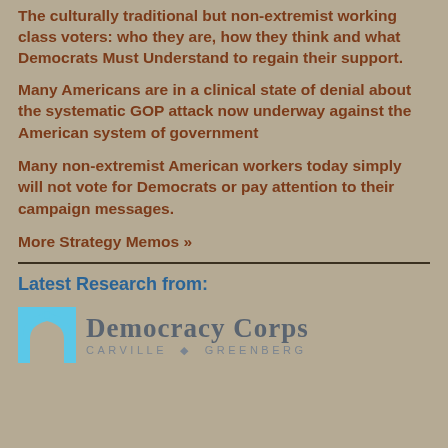The culturally traditional but non-extremist working class voters: who they are, how they think and what Democrats Must Understand to regain their support.
Many Americans are in a clinical state of denial about the systematic GOP attack now underway against the American system of government
Many non-extremist American workers today simply will not vote for Democrats or pay attention to their campaign messages.
More Strategy Memos »
Latest Research from:
[Figure (logo): Democracy Corps logo with blue Capitol dome icon and text 'Democracy Corps' with tagline 'CARVILLE • GREENBERG']